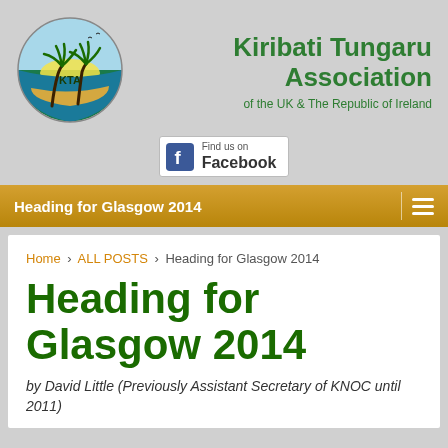[Figure (logo): Kiribati Tungaru Association circular logo with palm trees, ocean, and KTA text]
Kiribati Tungaru Association of the UK & The Republic of Ireland
[Figure (logo): Find us on Facebook badge with Facebook icon]
Heading for Glasgow 2014
Home › ALL POSTS › Heading for Glasgow 2014
Heading for Glasgow 2014
by David Little (Previously Assistant Secretary of KNOC until 2011)